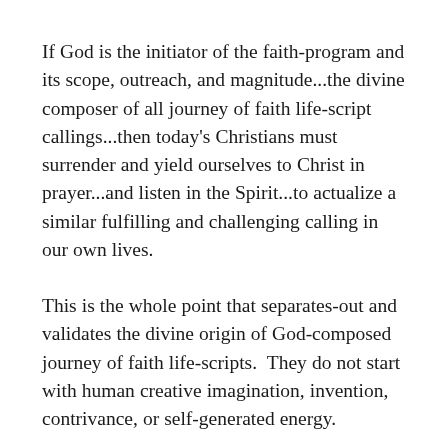If God is the initiator of the faith-program and its scope, outreach, and magnitude...the divine composer of all journey of faith life-script callings...then today's Christians must surrender and yield ourselves to Christ in prayer...and listen in the Spirit...to actualize a similar fulfilling and challenging calling in our own lives.
This is the whole point that separates-out and validates the divine origin of God-composed journey of faith life-scripts.  They do not start with human creative imagination, invention, contrivance, or self-generated energy.